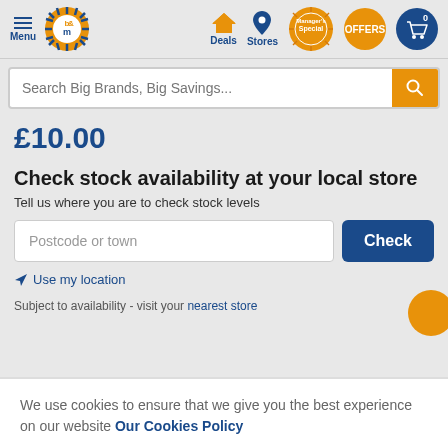B&M store navigation bar with Menu, logo, Deals, Stores, Manager's Special, Offers, and cart
Search Big Brands, Big Savings...
£10.00
Check stock availability at your local store
Tell us where you are to check stock levels
Postcode or town
Check
Use my location
Subject to availability - visit your nearest store
We use cookies to ensure that we give you the best experience on our website Our Cookies Policy